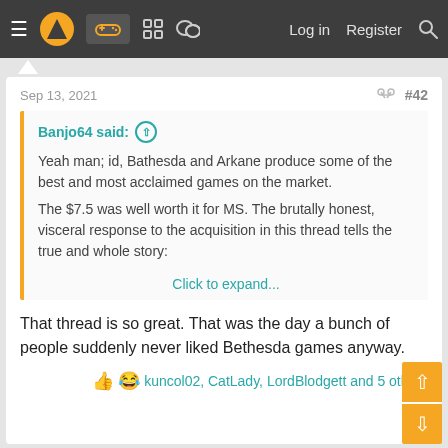Navigation bar with hamburger menu, logo, game controller icon, grid icon, chat icon, Log in, Register, Search
Sep 13, 2021  #42
Banjo64 said: ↑

Yeah man; id, Bathesda and Arkane produce some of the best and most acclaimed games on the market.

The $7.5 was well worth it for MS. The brutally honest, visceral response to the acquisition in this thread tells the true and whole story:

Click to expand...
That thread is so great. That was the day a bunch of people suddenly never liked Bethesda games anyway.
👍 😂 kuncol02, CatLady, LordBlodgett and 5 others